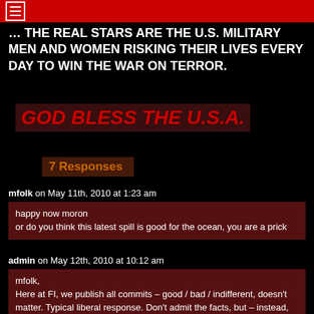… THE REAL STARS ARE THE U.S. MILITARY MEN AND WOMEN RISKING THEIR LIVES EVERY DAY TO WIN THE WAR ON TERROR.
GOD BLESS THE U.S.A.
7 Responses
mfolk on May 11th, 2010 at 1:23 am
happy now moron
or do you think this latest spill is good for the ocean, you are a prick
admin on May 12th, 2010 at 10:12 am
mfolk,
Here at FI, we publish all commits – good / bad / indifferent, doesn't matter. Typical liberal response. Don't admit the facts, but – instead, avoid and distract. Name-calling and accusations, no substance.